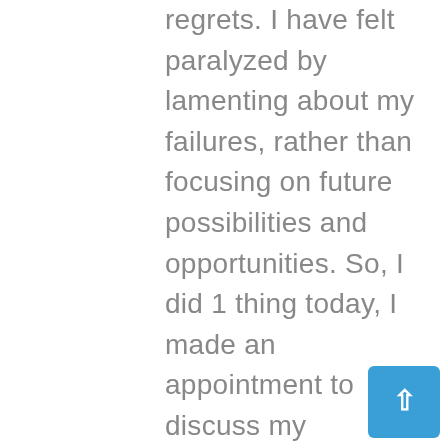regrets. I have felt paralyzed by lamenting about my failures, rather than focusing on future possibilities and opportunities. So, I did 1 thing today, I made an appointment to discuss my circumstances with a professional! I'm kinda scared about it but it's just 1 step